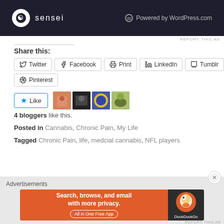[Figure (screenshot): Sensei blog advertisement banner with dark background, sensei logo on left, Powered by WordPress.com on right]
REPORT THIS AD
Share this:
Twitter
Facebook
Print
LinkedIn
Tumblr
Pinterest
[Figure (screenshot): Like button with blue star icon and 4 blogger avatars]
4 bloggers like this.
Posted in Cannabis, Chronic Pain, My Life
Tagged Chronic Pain, life, medcial cannabis, NFL players
[Figure (screenshot): DuckDuckGo advertisement banner: Search, browse, and email with more privacy. All in One Free App.]
REPORT THIS AD